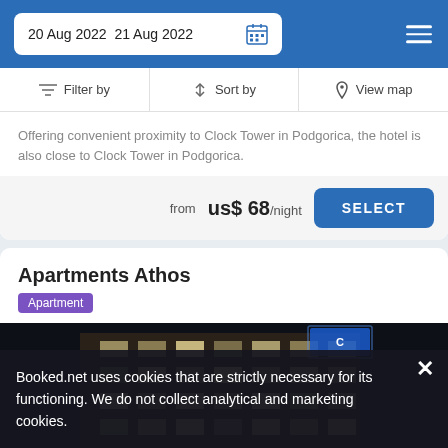20 Aug 2022  21 Aug 2022
Filter by  Sort by  View map
Offering convenient proximity to Clock Tower in Podgorica, the hotel is also close to Clock Tower in Podgorica.
from  us$ 68/night  SELECT
Apartments Athos
Apartment
[Figure (photo): Night photo of Apartments Athos building exterior with blue signage lights]
Booked.net uses cookies that are strictly necessary for its functioning. We do not collect analytical and marketing cookies.